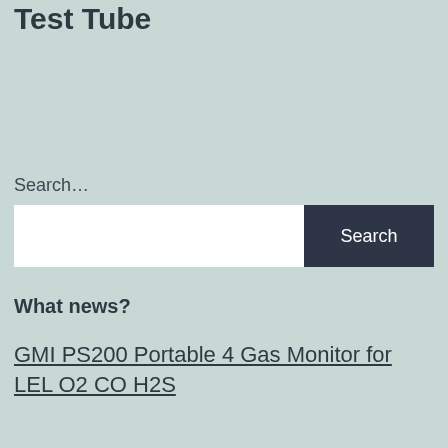Test Tube
Search…
Search
What news?
GMI PS200 Portable 4 Gas Monitor for LEL O2 CO H2S